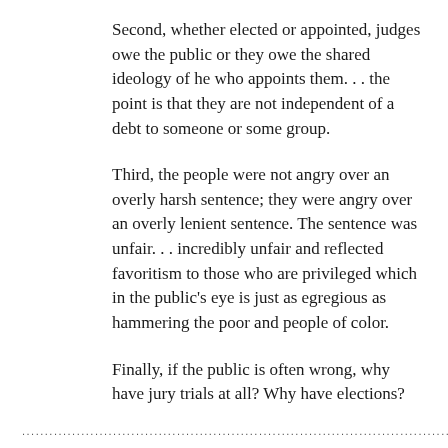Second, whether elected or appointed, judges owe the public or they owe the shared ideology of he who appoints them. . . the point is that they are not independent of a debt to someone or some group.
Third, the people were not angry over an overly harsh sentence; they were angry over an overly lenient sentence. The sentence was unfair. . . incredibly unfair and reflected favoritism to those who are privileged which in the public's eye is just as egregious as hammering the poor and people of color.
Finally, if the public is often wrong, why have jury trials at all? Why have elections?
...................................................................................................................